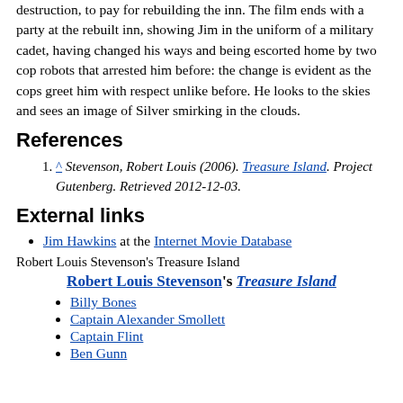destruction, to pay for rebuilding the inn. The film ends with a party at the rebuilt inn, showing Jim in the uniform of a military cadet, having changed his ways and being escorted home by two cop robots that arrested him before: the change is evident as the cops greet him with respect unlike before. He looks to the skies and sees an image of Silver smirking in the clouds.
References
^ Stevenson, Robert Louis (2006). Treasure Island. Project Gutenberg. Retrieved 2012-12-03.
External links
Jim Hawkins at the Internet Movie Database
Robert Louis Stevenson's Treasure Island
Robert Louis Stevenson's Treasure Island
Billy Bones
Captain Alexander Smollett
Captain Flint
Ben Gunn